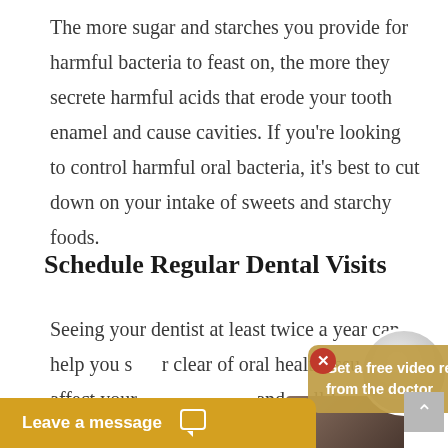The more sugar and starches you provide for harmful bacteria to feast on, the more they secrete harmful acids that erode your tooth enamel and cause cavities. If you're looking to control harmful oral bacteria, it's best to cut down on your intake of sweets and starchy foods.
Schedule Regular Dental Visits
Seeing your dentist at least twice a year can help you stay clear of oral health issues that affect your ... and well-being.
[Figure (screenshot): A tooltip overlay with golden/amber background reading 'Get a free video response from the doctor', with a red X close button, a circular avatar, a scroll-up button, and a 'Leave a message' chat bar at the bottom in amber/gold color with a chat bubble icon.]